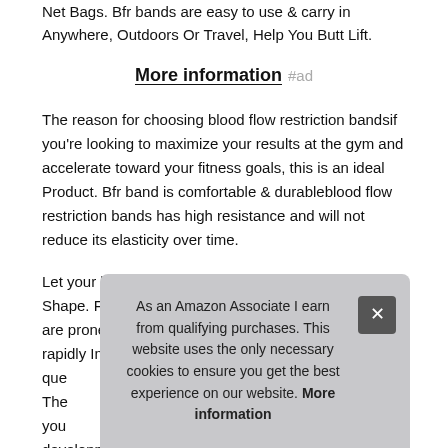Net Bags. Bfr bands are easy to use & carry in Anywhere, Outdoors Or Travel, Help You Butt Lift.
More information #ad
The reason for choosing blood flow restriction bandsif you're looking to maximize your results at the gym and accelerate toward your fitness goals, this is an ideal Product. Bfr band is comfortable & durableblood flow restriction bands has high resistance and will not reduce its elasticity over time.
Let your body unconsciously Change To Perfect Body Shape. Free sports net bagsweat-soaked butt bands are prone to odor in the backpack. You'll be able to rapidly Improve Your Stre... que... The... you... development and gluteal muscle growth by temporarily
As an Amazon Associate I earn from qualifying purchases. This website uses the only necessary cookies to ensure you get the best experience on our website. More information